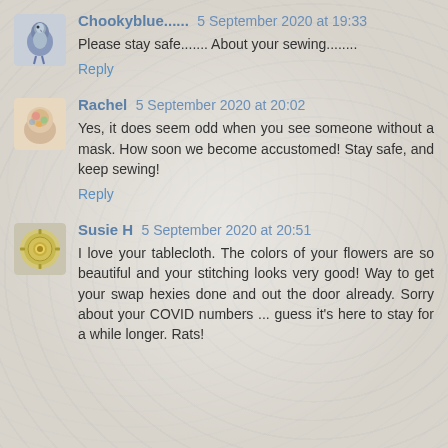Chookyblue...... 5 September 2020 at 19:33
Please stay safe....... About your sewing........
Reply
Rachel 5 September 2020 at 20:02
Yes, it does seem odd when you see someone without a mask. How soon we become accustomed! Stay safe, and keep sewing!
Reply
Susie H 5 September 2020 at 20:51
I love your tablecloth. The colors of your flowers are so beautiful and your stitching looks very good! Way to get your swap hexies done and out the door already. Sorry about your COVID numbers ... guess it's here to stay for a while longer. Rats!